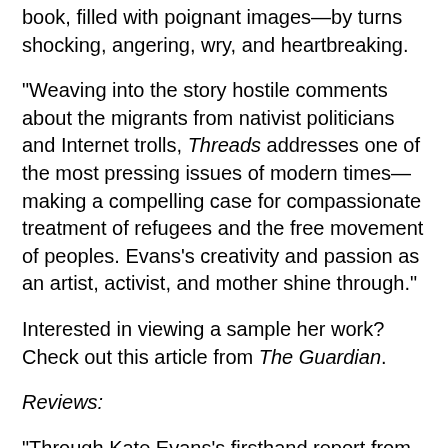book, filled with poignant images—by turns shocking, angering, wry, and heartbreaking.
“Weaving into the story hostile comments about the migrants from nativist politicians and Internet trolls, Threads addresses one of the most pressing issues of modern times—making a compelling case for compassionate treatment of refugees and the free movement of peoples. Evans’s creativity and passion as an artist, activist, and mother shine through.”
Interested in viewing a sample her work? Check out this article from The Guardian.
Reviews:
“Through Kate Evans’s firsthand report from the Calais ‘Jungle’ we meet the refugees, get a vivid look at their living conditions, and witness the impressive resourcefulness of the volunteer operation that